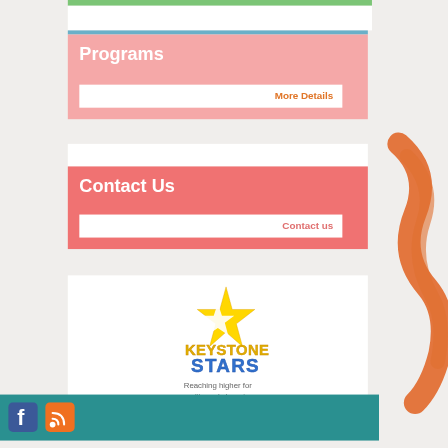Programs
More Details
Contact Us
Contact us
[Figure (logo): Keystone Stars logo — yellow star with white star overlay, text 'KEYSTONE STARS' in blue and yellow block letters, tagline 'Reaching higher for quality early learning']
[Figure (infographic): Social media icons bar — Facebook (blue square with f) and RSS feed (orange square with wifi symbol) icons on teal background]